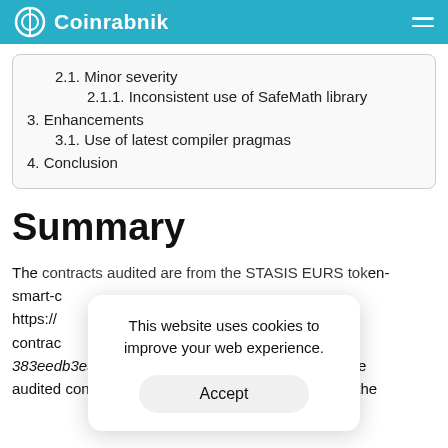Coinrabbit
2.1. Minor severity
2.1.1. Inconsistent use of SafeMath library
3. Enhancements
3.1. Use of latest compiler pragmas
4. Conclusion
Summary
The contracts audited are from the STASIS EURS token-smart-c https://...-smart-contrac 383eedb3e5002ed244b15fb2fba1cfa147a6da67. The audited contracts are SETToken.sol, which handles the
This website uses cookies to improve your web experience.